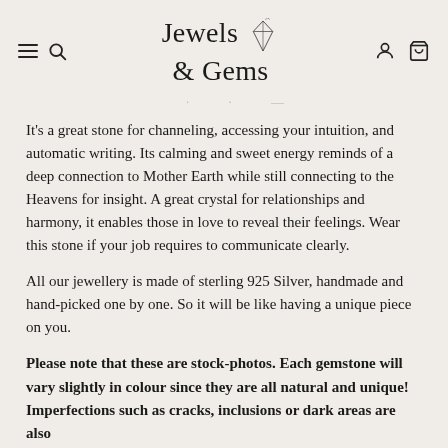Jewels & Gems
It's a great stone for channeling, accessing your intuition, and automatic writing. Its calming and sweet energy reminds of a deep connection to Mother Earth while still connecting to the Heavens for insight. A great crystal for relationships and harmony, it enables those in love to reveal their feelings. Wear this stone if your job requires to communicate clearly.
All our jewellery is made of sterling 925 Silver, handmade and hand-picked one by one. So it will be like having a unique piece on you.
Please note that these are stock-photos. Each gemstone will vary slightly in colour since they are all natural and unique! Imperfections such as cracks, inclusions or dark areas are also